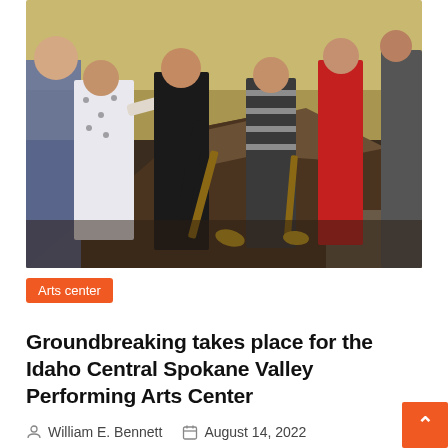[Figure (photo): Groundbreaking ceremony photo showing several people in formal attire shoveling dirt from a large mound of dark soil at an outdoor construction site. Women in black, white floral, striped, and red dresses are visible holding ceremonial golden shovels.]
Arts center
Groundbreaking takes place for the Idaho Central Spokane Valley Performing Arts Center
William E. Bennett   August 14, 2022